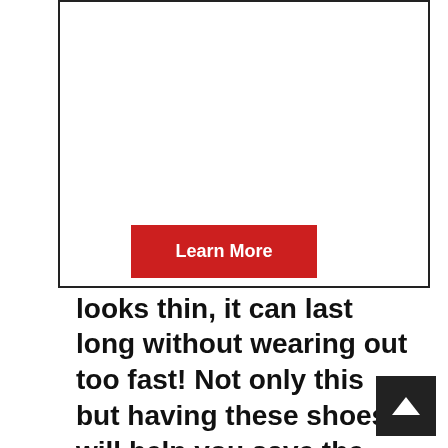material that is really comfortable when worn, especially when worn during autumn and winter months. The interior parts of these shoes are lined with wool so even though it looks thin, it can last long without wearing out too fast! Not only this but having these shoes will help you save the world through sustainable resource conservation.
Learn More